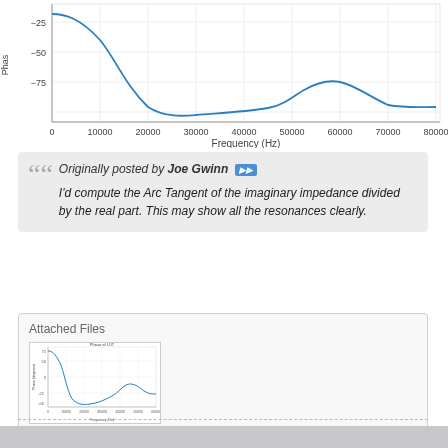[Figure (continuous-plot): Phase vs Frequency plot showing phase (degrees) on y-axis from approximately -25 to -80, and frequency (Hz) on x-axis from 0 to 80000. A blue curve starts near -25, drops steeply to about -80 around 20000-30000 Hz, then rises to a bump near 55000 Hz at around -70, then flattens.]
Originally posted by Joe Gwinn
I'd compute the Arc Tangent of the imaginary impedance divided by the real part. This may show all the resonances clearly.
Attached Files
[Figure (continuous-plot): Thumbnail of a Phase vs Frequency plot, similar to the one above, small version showing the same curve shape.]